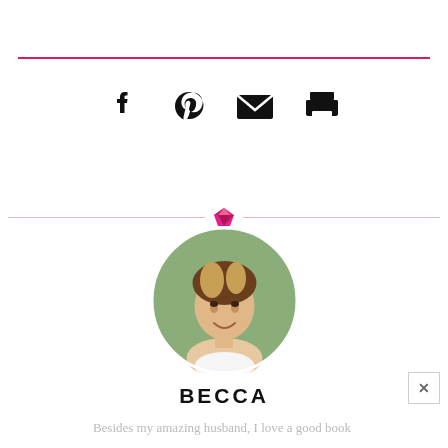[Figure (infographic): Social sharing icons: Facebook (f), Pinterest (P), email (envelope), print (printer) displayed horizontally centered]
[Figure (photo): Circular profile photo of a woman named Becca with blonde-brown hair, smiling, outdoors background]
BECCA
Besides my amazing husband, I love a good book